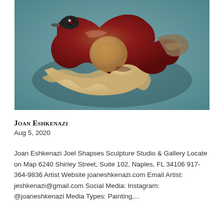[Figure (photo): Photograph of a ceramic sculpture — an abstract bird or animal form with dark brown-red glaze and cream/tan areas, on a teal/gray background.]
Joan Eshkenazi
Aug 5, 2020
Joan Eshkenazi Joel Shapses Sculpture Studio & Gallery Locate on Map 6240 Shirley Street, Suite 102, Naples, FL 34106 917-364-9836 Artist Website joaneshkenazi.com Email Artist: jeshkenazi@gmail.com Social Media: Instagram: @joaneshkenazi Media Types: Painting,...